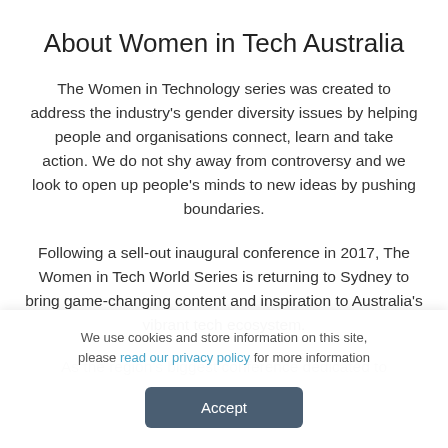About Women in Tech Australia
The Women in Technology series was created to address the industry's gender diversity issues by helping people and organisations connect, learn and take action. We do not shy away from controversy and we look to open up people's minds to new ideas by pushing boundaries.
Following a sell-out inaugural conference in 2017, The Women in Tech World Series is returning to Sydney to bring game-changing content and inspiration to Australia's vibrant tech ecosystem.
As the region's biggest conference dedicated to
We use cookies and store information on this site, please read our privacy policy for more information
Accept